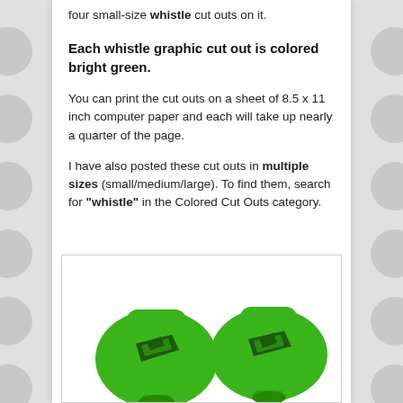four small-size whistle cut outs on it.
Each whistle graphic cut out is colored bright green.
You can print the cut outs on a sheet of 8.5 x 11 inch computer paper and each will take up nearly a quarter of the page.
I have also posted these cut outs in multiple sizes (small/medium/large). To find them, search for "whistle" in the Colored Cut Outs category.
[Figure (illustration): Two bright green whistle graphics/cut outs shown side by side on a white background with a border]